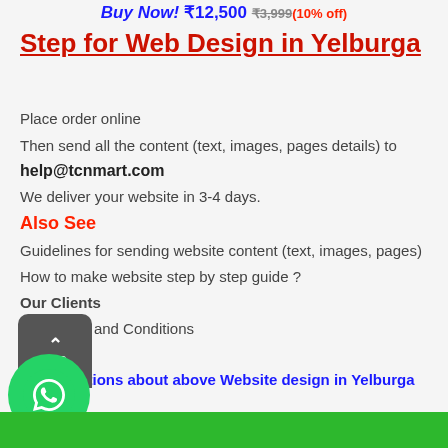Buy Now! ₹12,500 ₹3,999 (10% off)
Step for Web Design in Yelburga
Place order online
Then send all the content (text, images, pages details) to
help@tcnmart.com
We deliver your website in 3-4 days.
Also See
Guidelines for sending website content (text, images, pages)
How to make website step by step guide ?
Our Clients
Our Terms and Conditions
FAQs
Any questions about above Website design in Yelburga plan?
Call us on +91-999-295-9999 or Mail us at help@tcnmart.com